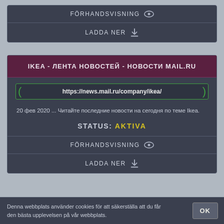FÖRHANDSVISNING
LADDA NER
IKEA - ЛЕНТА НОВОСТЕЙ - НОВОСТИ MAIL.RU
https://news.mail.ru/company/ikea/
20 фев 2020 ... Читайте последние новости на сегодня по теме Ikea.
STATUS: AKTIVA
FÖRHANDSVISNING
LADDA NER
Denna webbplats använder cookies för att säkerställa att du får den bästa upplevelsen på vår webbplats.